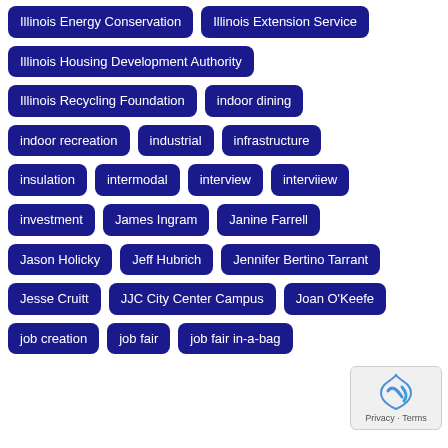Illinois Energy Conservation
Illinois Extension Service
Illinois Housing Development Authority
Illinois Recycling Foundation
indoor dining
indoor recreation
industrial
infrastructure
insulation
intermodal
interview
interviiew
investment
James Ingram
Janine Farrell
Jason Holicky
Jeff Hubrich
Jennifer Bertino Tarrant
Jesse Cruitt
JJC City Center Campus
Joan O'Keefe
job creation
job fair
job fair in-a-bag